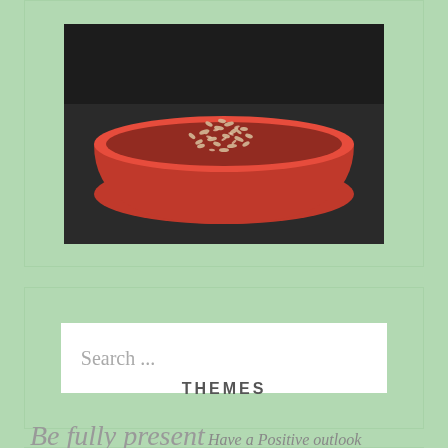[Figure (photo): Top-down view of a red bowl filled with oats or grains on a dark background]
Search ...
THEMES
Be fully present  Have a Positive outlook  Health  How Stress affects us  Inner Life